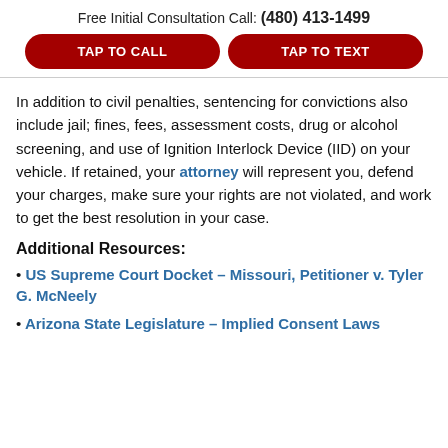Free Initial Consultation Call: (480) 413-1499
TAP TO CALL
TAP TO TEXT
In addition to civil penalties, sentencing for convictions also include jail; fines, fees, assessment costs, drug or alcohol screening, and use of Ignition Interlock Device (IID) on your vehicle. If retained, your attorney will represent you, defend your charges, make sure your rights are not violated, and work to get the best resolution in your case.
Additional Resources:
US Supreme Court Docket – Missouri, Petitioner v. Tyler G. McNeely
Arizona State Legislature – Implied Consent Laws